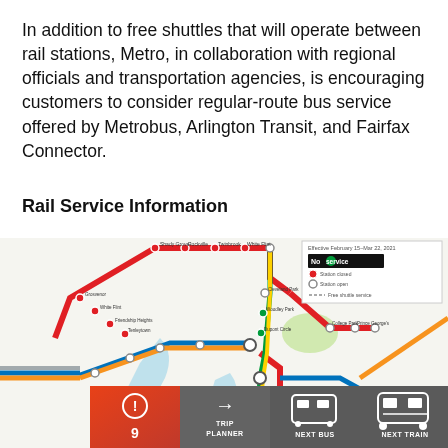In addition to free shuttles that will operate between rail stations, Metro, in collaboration with regional officials and transportation agencies, is encouraging customers to consider regular-route bus service offered by Metrobus, Arlington Transit, and Fairfax Connector.
Rail Service Information
[Figure (map): Washington DC Metro system map showing rail lines (Red, Blue, Orange, Yellow, Green) with a legend indicating 'No service' for a segment between February 15 - March 22, 2021, with closed stations marked in red and open stations in white circles, and free shuttle service indicated between certain stations.]